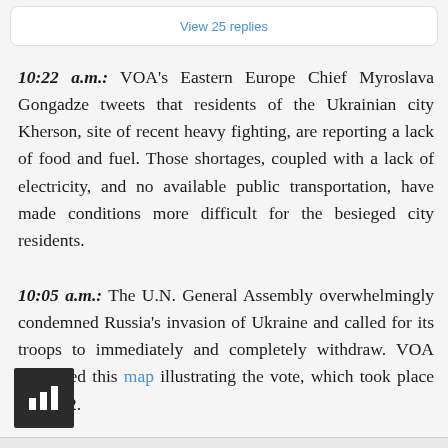View 25 replies
10:22 a.m.: VOA's Eastern Europe Chief Myroslava Gongadze tweets that residents of the Ukrainian city Kherson, site of recent heavy fighting, are reporting a lack of food and fuel. Those shortages, coupled with a lack of electricity, and no available public transportation, have made conditions more difficult for the besieged city residents.
10:05 a.m.: The U.N. General Assembly overwhelmingly condemned Russia's invasion of Ukraine and called for its troops to immediately and completely withdraw. VOA published this map illustrating the vote, which took place March 2.
[Figure (other): Dark square icon with a bar chart symbol in white, representing a chart or data visualization button]